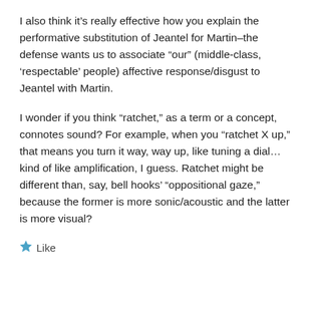I also think it’s really effective how you explain the performative substitution of Jeantel for Martin–the defense wants us to associate “our” (middle-class, ‘respectable’ people) affective response/disgust to Jeantel with Martin.
I wonder if you think “ratchet,” as a term or a concept, connotes sound? For example, when you “ratchet X up,” that means you turn it way, way up, like tuning a dial…kind of like amplification, I guess. Ratchet might be different than, say, bell hooks’ “oppositional gaze,” because the former is more sonic/acoustic and the latter is more visual?
★ Like